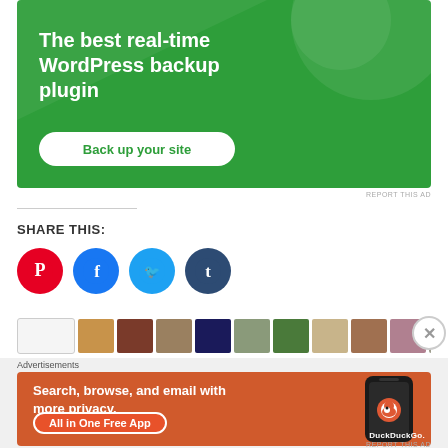[Figure (screenshot): Green advertisement banner for WordPress backup plugin with text 'The best real-time WordPress backup plugin' and a 'Back up your site' button]
REPORT THIS AD
SHARE THIS:
[Figure (infographic): Social share buttons: Pinterest (red), Facebook (blue), Twitter (light blue), Tumblr (dark blue)]
[Figure (screenshot): Horizontal thumbnail strip of article images with navigation]
Advertisements
[Figure (screenshot): DuckDuckGo orange advertisement: 'Search, browse, and email with more privacy. All in One Free App' with phone mockup and DuckDuckGo logo]